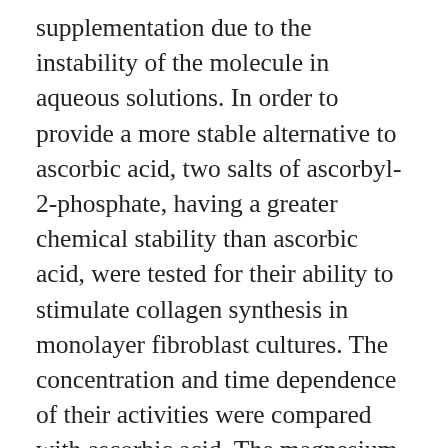supplementation due to the instability of the molecule in aqueous solutions. In order to provide a more stable alternative to ascorbic acid, two salts of ascorbyl-2-phosphate, having a greater chemical stability than ascorbic acid, were tested for their ability to stimulate collagen synthesis in monolayer fibroblast cultures. The concentration and time dependence of their activities were compared with ascorbic acid. The magnesium salt of ascorbyl-2-phosphate was found to be equivalent to ascorbic acid in stimulating collagen synthesis in these assays, while the sodium salt required at least a tenfold greater concentration to produce the same effect as ascorbic acid. Solutions of either ascorbic acid or the ascorbyl-2-phosphate analogs (at 10 mM) in phosphate-buffered saline (PBS) were relatively stable as shown by their decay rates and their ability